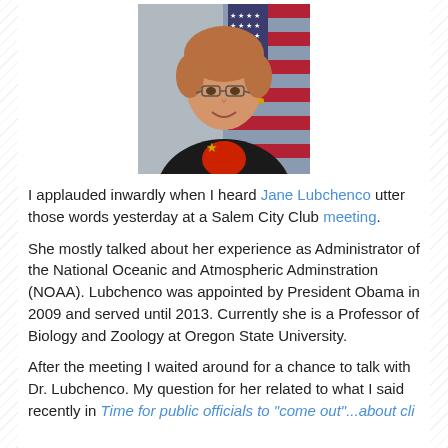[Figure (photo): Official portrait photo of Jane Lubchenco, a woman with short reddish-blonde hair wearing glasses, a black blazer with a gold star brooch, and a red top. An American flag is visible in the background.]
I applauded inwardly when I heard Jane Lubchenco utter those words yesterday at a Salem City Club meeting.
She mostly talked about her experience as Administrator of the National Oceanic and Atmospheric Adminstration (NOAA). Lubchenco was appointed by President Obama in 2009 and served until 2013. Currently she is a Professor of Biology and Zoology at Oregon State University.
After the meeting I waited around for a chance to talk with Dr. Lubchenco. My question for her related to what I said recently in Time for public officials to "come out"...about climate change